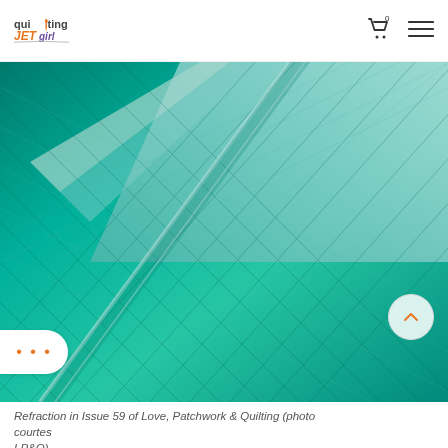quilting JETgirl
[Figure (photo): Close-up photograph of a teal/emerald green quilted fabric showing diamond quilting pattern with folded edge revealing batting]
Refraction in Issue 59 of Love, Patchwork & Quilting (photo courtesy LP&Q)